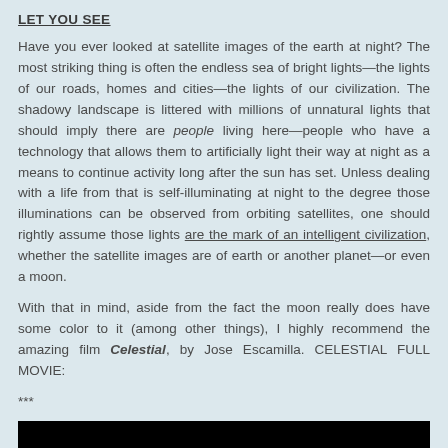LET YOU SEE
Have you ever looked at satellite images of the earth at night? The most striking thing is often the endless sea of bright lights—the lights of our roads, homes and cities—the lights of our civilization. The shadowy landscape is littered with millions of unnatural lights that should imply there are people living here—people who have a technology that allows them to artificially light their way at night as a means to continue activity long after the sun has set. Unless dealing with a life from that is self-illuminating at night to the degree those illuminations can be observed from orbiting satellites, one should rightly assume those lights are the mark of an intelligent civilization, whether the satellite images are of earth or another planet—or even a moon.
With that in mind, aside from the fact the moon really does have some color to it (among other things), I highly recommend the amazing film Celestial, by Jose Escamilla. CELESTIAL FULL MOVIE:
***
[Figure (photo): Black rectangle representing a video still or embedded image placeholder]